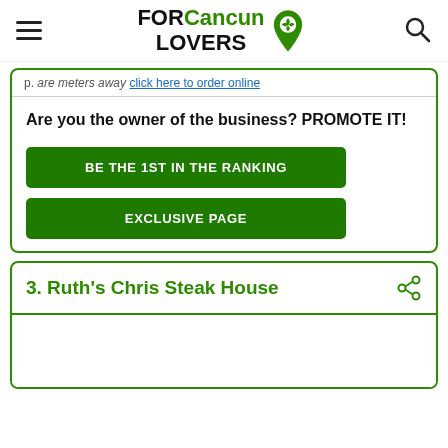FOR Cancun LOVERS
Are you the owner of the business? PROMOTE IT!
BE THE 1ST IN THE RANKING
EXCLUSIVE PAGE
3. Ruth's Chris Steak House